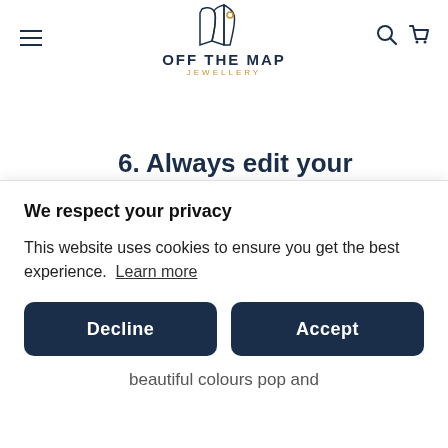OFF THE MAP JEWELLERY
6. Always edit your images!
Taking the time to learn how to edit your photos properly can help you
We respect your privacy
This website uses cookies to ensure you get the best experience. Learn more
Decline
Accept
beautiful colours pop and